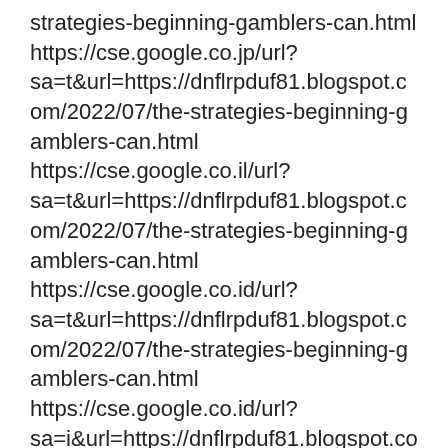strategies-beginning-gamblers-can.html
https://cse.google.co.jp/url?sa=t&url=https://dnflrpduf81.blogspot.com/2022/07/the-strategies-beginning-gamblers-can.html
https://cse.google.co.il/url?sa=t&url=https://dnflrpduf81.blogspot.com/2022/07/the-strategies-beginning-gamblers-can.html
https://cse.google.co.id/url?sa=t&url=https://dnflrpduf81.blogspot.com/2022/07/the-strategies-beginning-gamblers-can.html
https://cse.google.co.id/url?sa=i&url=https://dnflrpduf81.blogspot.com/2022/07/the-strategies-beginning-gamblers-can.html
https://cse.google.co.cr/url?sa=t&url=https://dnflrpduf81.blogspot.com/2022/07/the-strategies-beginning-gamblers-can.html